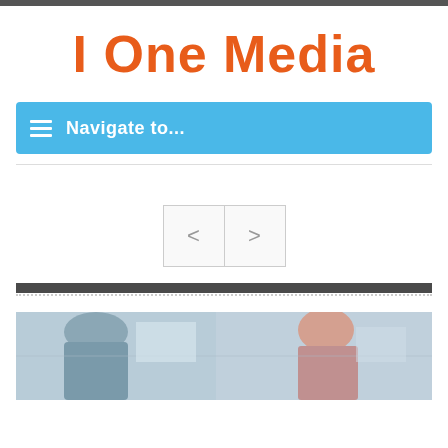I One Media
Navigate to...
[Figure (screenshot): Navigation slider with left and right arrow buttons]
[Figure (photo): Two people in a professional/medical setting, one appearing to be writing or working, taken in an office or hospital environment]